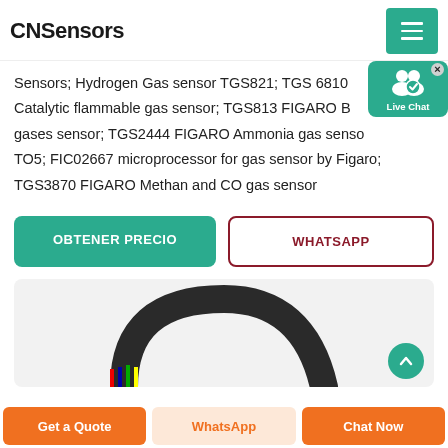CNSensors
Sensors; Hydrogen Gas sensor TGS821; TGS 6810 Catalytic flammable gas sensor; TGS813 FIGARO B gases sensor; TGS2444 FIGARO Ammonia gas sensor; TO5; FIC02667 microprocessor for gas sensor by Figaro; TGS3870 FIGARO Methan and CO gas sensor
[Figure (screenshot): Live Chat widget with teal background, user icon, and 'Live Chat' label]
OBTENER PRECIO
WHATSAPP
[Figure (photo): Product image showing a curved black sensor cable/component on a light grey background]
Get a Quote | WhatsApp | Chat Now